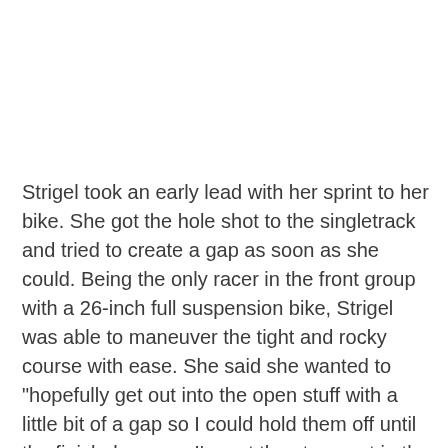Strigel took an early lead with her sprint to her bike. She got the hole shot to the singletrack and tried to create a gap as soon as she could. Being the only racer in the front group with a 26-inch full suspension bike, Strigel was able to maneuver the tight and rocky course with ease. She said she wanted to "hopefully get out into the open stuff with a little bit of a gap so I could hold them off until the finish, because I'm not the strongest in the open stuff." Her technique worked to get her the top spot.